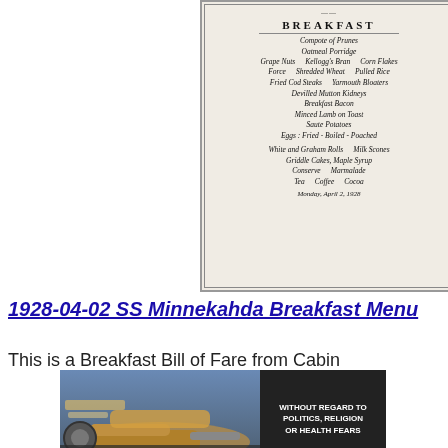[Figure (photo): Scanned image of a 1928 SS Minnekahda Breakfast Menu card with decorative border, listing menu items for Monday April 2, 1928]
1928-04-02 SS Minnekahda Breakfast Menu
This is a Breakfast Bill of Fare from Cabin
[Figure (photo): Advertisement banner showing an airplane being loaded with cargo, with text WITHOUT REGARD TO POLITICS, RELIGION OR HEALTH FEARS]